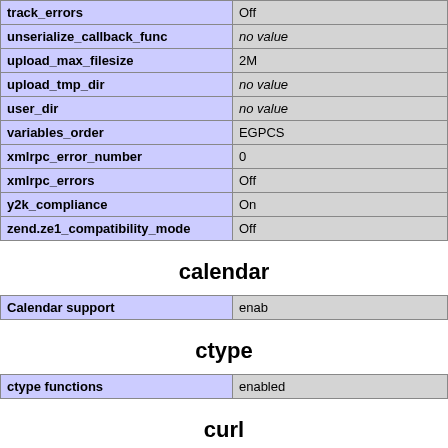| track_errors | Off |
| unserialize_callback_func | no value |
| upload_max_filesize | 2M |
| upload_tmp_dir | no value |
| user_dir | no value |
| variables_order | EGPCS |
| xmlrpc_error_number | 0 |
| xmlrpc_errors | Off |
| y2k_compliance | On |
| zend.ze1_compatibility_mode | Off |
calendar
| Calendar support | enabled |
ctype
| ctype functions | enabled |
curl